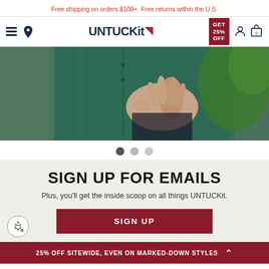Free shipping on orders $100+. Free returns within the U.S.
[Figure (screenshot): UNTUCKit website navigation bar with hamburger menu, location pin, UNTUCKit logo with red flag, GET 25% OFF badge, user icon, and cart icon with 0]
[Figure (photo): Close-up photo of a man's torso wearing a teal/green UNTUCKit shirt with hand tucked in pocket]
[Figure (other): Carousel navigation dots: three circles indicating slide position (first active, two inactive)]
SIGN UP FOR EMAILS
Plus, you'll get the inside scoop on all things UNTUCKit.
[Figure (other): SIGN UP button in dark red/maroon color]
25% OFF SITEWIDE, EVEN ON MARKED-DOWN STYLES